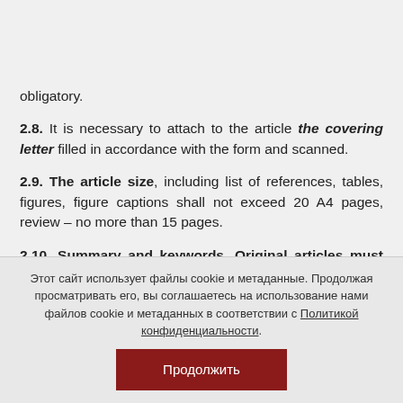≡
obligatory.
2.8. It is necessary to attach to the article the covering letter filled in accordance with the form and scanned.
2.9. The article size, including list of references, tables, figures, figure captions shall not exceed 20 A4 pages, review – no more than 15 pages.
2.10. Summary and keywords. Original articles must contain a summary and key words in Russian and English (Note - if necessary the editorial board assists
Этот сайт использует файлы cookie и метаданные. Продолжая просматривать его, вы соглашаетесь на использование нами файлов cookie и метаданных в соответствии с Политикой конфиденциальности.
Продолжить